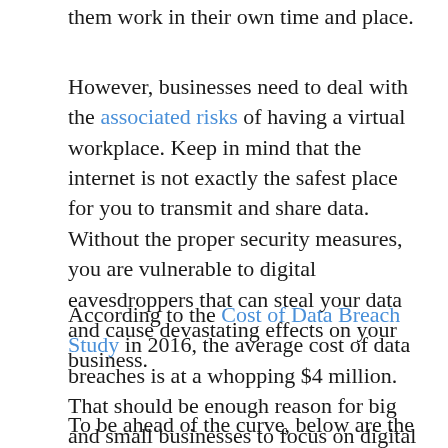them work in their own time and place.
However, businesses need to deal with the associated risks of having a virtual workplace. Keep in mind that the internet is not exactly the safest place for you to transmit and share data. Without the proper security measures, you are vulnerable to digital eavesdroppers that can steal your data and cause devastating effects on your business.
According to the Cost of Data Breach Study in 2016, the average cost of data breaches is at a whopping $4 million. That should be enough reason for big and small businesses to focus on digital security and Data Loss Prevention (DLP).
To be ahead of the curve, below are the top 10 security tips that will help you secure your critical